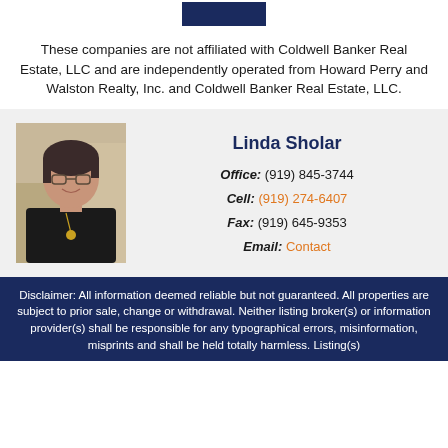[Figure (logo): Coldwell Banker or Howard Perry Walston logo placeholder at top]
These companies are not affiliated with Coldwell Banker Real Estate, LLC and are independently operated from Howard Perry and Walston Realty, Inc. and Coldwell Banker Real Estate, LLC.
[Figure (photo): Headshot photo of Linda Sholar, a woman with dark hair and glasses wearing a black top with a gold necklace]
Linda Sholar
Office: (919) 845-3744
Cell: (919) 274-6407
Fax: (919) 645-9353
Email: Contact
Disclaimer: All information deemed reliable but not guaranteed. All properties are subject to prior sale, change or withdrawal. Neither listing broker(s) or information provider(s) shall be responsible for any typographical errors, misinformation, misprints and shall be held totally harmless. Listing(s)